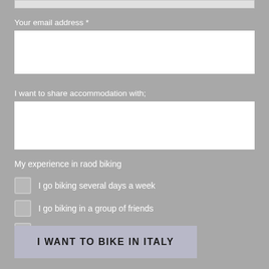Your email address *
I want to share accommodation with;
My experience in raod biking
I go biking several days a week
I go biking in a group of friends
I've been biking in high mountains before
I WANT TO BIKE IN ITALY